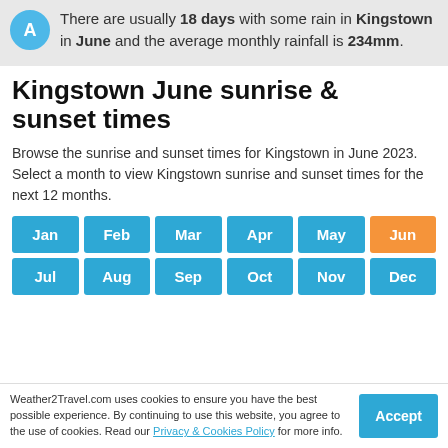There are usually 18 days with some rain in Kingstown in June and the average monthly rainfall is 234mm.
Kingstown June sunrise & sunset times
Browse the sunrise and sunset times for Kingstown in June 2023. Select a month to view Kingstown sunrise and sunset times for the next 12 months.
Jan
Feb
Mar
Apr
May
Jun
Jul
Aug
Sep
Oct
Nov
Dec
Weather2Travel.com uses cookies to ensure you have the best possible experience. By continuing to use this website, you agree to the use of cookies. Read our Privacy & Cookies Policy for more info.